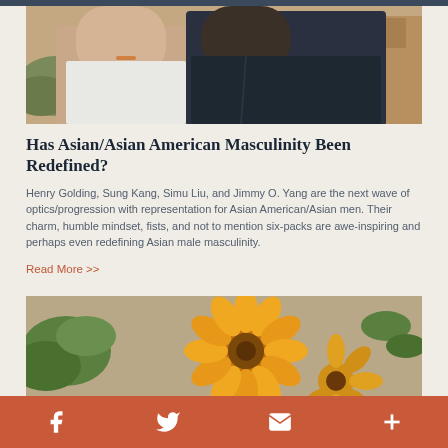[Figure (photo): Two people outdoors, one in a white sleeveless top and one in a dark leather jacket, with foliage and a building in the background]
Has Asian/Asian American Masculinity Been Redefined?
Henry Golding, Sung Kang, Simu Liu, and Jimmy O. Yang are the next wave of optics/progression with representation for Asian American/Asian men. Their charm, humble mindset, fists, and not to mention six-packs are awe-inspiring and perhaps even redefining Asian male masculinity.
Read More >>
[Figure (photo): Close-up of orange/yellow gerbera daisies with green leaves against a blurred background]
f  twitter  email  +